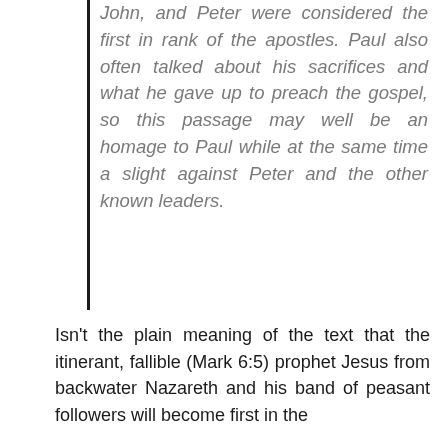John, and Peter were considered the first in rank of the apostles. Paul also often talked about his sacrifices and what he gave up to preach the gospel, so this passage may well be an homage to Paul while at the same time a slight against Peter and the other known leaders.
Isn't the plain meaning of the text that the itinerant, fallible (Mark 6:5) prophet Jesus from backwater Nazareth and his band of peasant followers will become first in the